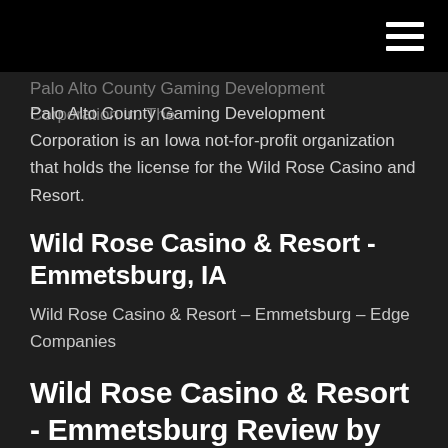Palo Alto County Gaming Development Corporation in. The Palo Alto County Gaming Development Corporation is an Iowa not-for-profit organization that holds the license for the Wild Rose Casino and Resort.
Wild Rose Casino & Resort - Emmetsburg, IA
Wild Rose Casino & Resort – Emmetsburg – Edge Companies
Wild Rose Casino & Resort - Emmetsburg Review by Casino City
Presentation of the Emmetsburg Wild Rose Casino . The